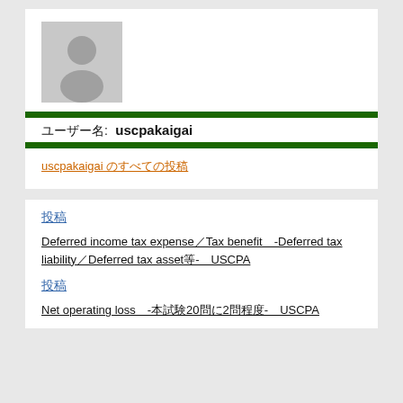[Figure (illustration): Gray placeholder avatar image with a silhouette of a person]
ユーザー名: uscpakaigai
uscpakaigai のすべての投稿
投稿
Deferred income tax expense／Tax benefit　-Deferred tax liability／Deferred tax asset等- USCPA
投稿
Net operating loss　-本試験20問に2問程度- USCPA